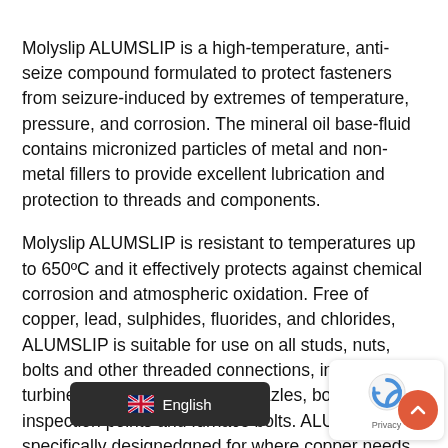Molyslip ALUMSLIP is a high-temperature, anti-seize compound formulated to protect fasteners from seizure-induced by extremes of temperature, pressure, and corrosion. The mineral oil base-fluid contains micronized particles of metal and non-metal fillers to provide excellent lubrication and protection to threads and components.
Molyslip ALUMSLIP is resistant to temperatures up to 650°C and it effectively protects against chemical corrosion and atmospheric oxidation. Free of copper, lead, sulphides, fluorides, and chlorides, ALUMSLIP is suitable for use on all studs, nuts, bolts and other threaded connections, including turbine casing studs, burner nozzles, boiler inspection points and furnace bolts. ALUMSLIP is specifically designed for where copper needs to be avoided (for example, where risks of galvanic corrosion exist).